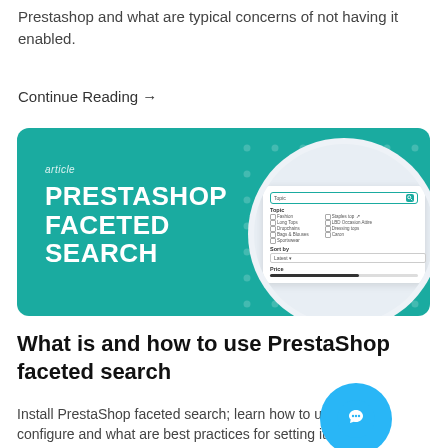Prestashop and what are typical concerns of not having it enabled.
Continue Reading →
[Figure (infographic): Teal article card with title 'PRESTASHOP FACETED SEARCH', dot grid pattern, and circular screenshot of faceted search UI]
What is and how to use PrestaShop faceted search
Install PrestaShop faceted search; learn how to use, configure and what are best practices for setting it up